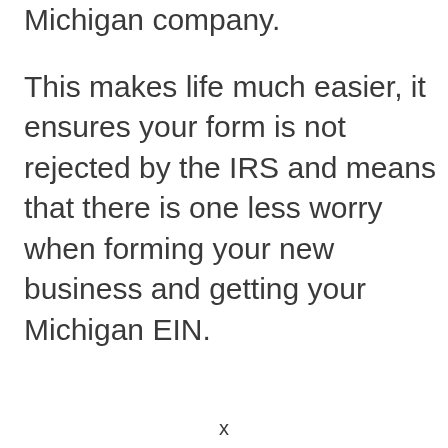Michigan company.
This makes life much easier, it ensures your form is not rejected by the IRS and means that there is one less worry when forming your new business and getting your Michigan EIN.
x